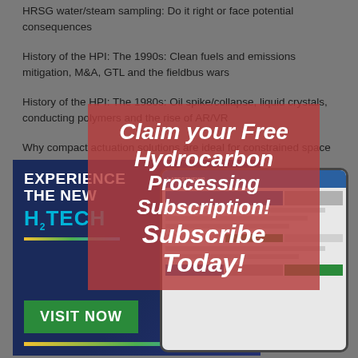HRSG water/steam sampling: Do it right or face potential consequences
History of the HPI: The 1990s: Clean fuels and emissions mitigation, M&A, GTL and the fieldbus wars
History of the HPI: The 1980s: Oil spike/collapse, liquid crystals, conducting polymers and the rise of AR/VR
Why compact actuation solutions are ideal for constrained space installations
[Figure (infographic): Advertisement banner for H2TECH magazine showing 'EXPERIENCE THE NEW H2TECH' text with a Visit Now button, overlaid with a semi-transparent popup saying 'Claim your Free Hydrocarbon Processing Subscription! Subscribe Today!' and a tablet mockup showing magazine content.]